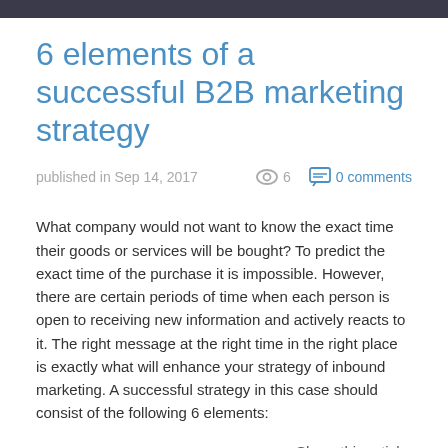6 elements of a successful B2B marketing strategy
published in Sep 14, 2017   👁 6   💬 0 comments
What company would not want to know the exact time their goods or services will be bought? To predict the exact time of the purchase it is impossible. However, there are certain periods of time when each person is open to receiving new information and actively reacts to it. The right message at the right time in the right place is exactly what will enhance your strategy of inbound marketing. A successful strategy in this case should consist of the following 6 elements:
Share this article:
5 reasons your website needs